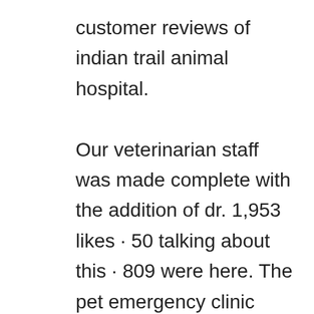customer reviews of indian trail animal hospital. Our veterinarian staff was made complete with the addition of dr. 1,953 likes · 50 talking about this · 809 were here. The pet emergency clinic (pec) was established in 1977 to provide emergency and critical care during evenings, weekends, and holidays when many other regular veterinary clinics are typically